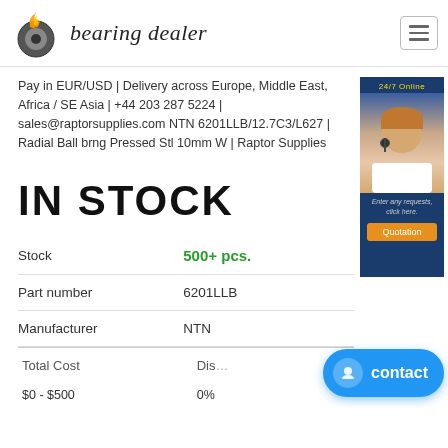bearing dealer
Pay in EUR/USD | Delivery across Europe, Middle East, Africa / SE Asia | +44 203 287 5224 | sales@raptorsupplies.com NTN 6201LLB/12.7C3/L627 | Radial Ball brng Pressed Stl 10mm W | Raptor Supplies
IN STOCK
|  |  |
| --- | --- |
| Stock | 500+ pcs. |
| Part number | 6201LLB |
| Manufacturer | NTN |
| Total Cost | Dis... |
| --- | --- |
| $0 - $500 | 0% |